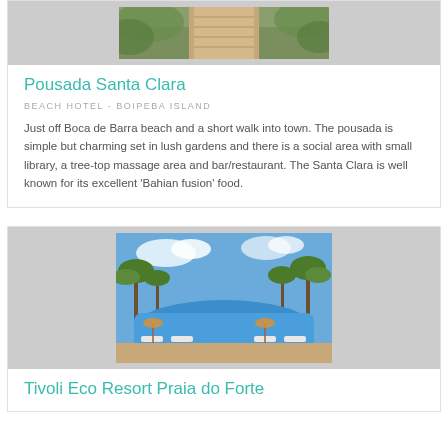[Figure (photo): Top portion of a photo of a wooden walkway or path through lush green tropical vegetation]
Pousada Santa Clara
BEACH HOTEL - BOIPEBA ISLAND
Just off Boca de Barra beach and a short walk into town. The pousada is simple but charming set in lush gardens and there is a social area with small library, a tree-top massage area and bar/restaurant. The Santa Clara is well known for its excellent 'Bahian fusion' food.
[Figure (photo): A resort swimming pool with lounge chairs surrounded by palm trees under a partly cloudy sky]
Tivoli Eco Resort Praia do Forte